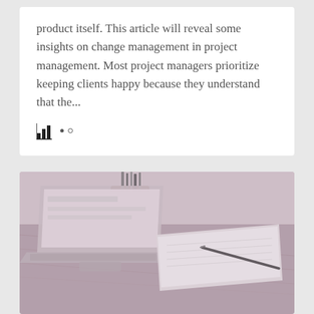product itself. This article will reveal some insights on change management in project management. Most project managers prioritize keeping clients happy because they understand that the...
[Figure (photo): A desk scene with a laptop computer open, a wooden pencil cup holder with supplies in the background, a notepad and pencil on the desk, all with a muted purple/pink tint filter applied.]